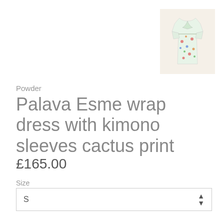[Figure (photo): Product thumbnail of a floral wrap dress with kimono sleeves on a cream/beige background]
Powder
Palava Esme wrap dress with kimono sleeves cactus print
£165.00
Size
S
Add to Cart